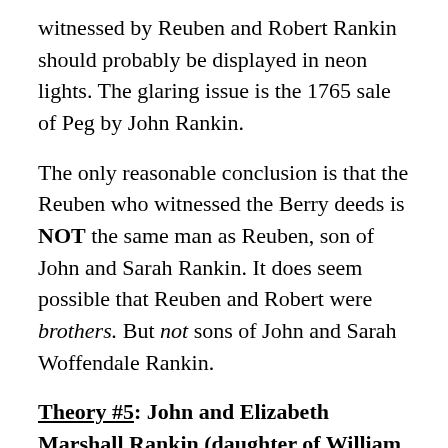witnessed by Reuben and Robert Rankin should probably be displayed in neon lights. The glaring issue is the 1765 sale of Peg by John Rankin.
The only reasonable conclusion is that the Reuben who witnessed the Berry deeds is NOT the same man as Reuben, son of John and Sarah Rankin. It does seem possible that Reuben and Robert were brothers. But not sons of John and Sarah Woffendale Rankin.
Theory #5: John and Elizabeth Marshall Rankin (daughter of William Marshall) of King George County were Lt. Robert's parents
At...